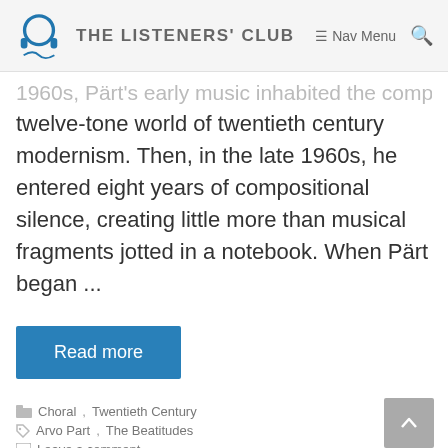THE LISTENERS' CLUB | Nav Menu
...1960s. Pärt's early music inhabited the complex, twelve-tone world of twentieth century modernism. Then, in the late 1960s, he entered eight years of compositional silence, creating little more than musical fragments jotted in a notebook. When Pärt began ...
Read more
Choral, Twentieth Century
Arvo Part, The Beatitudes
Leave a comment